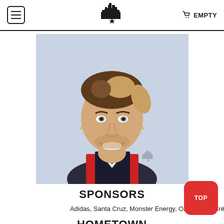EMPTY
[Figure (photo): Headshot of a young man with blonde-tipped brown hair, smiling, wearing a jacket with red and white trim, against a light blue background. A cityscape logo watermark is visible in the lower right corner of the photo.]
SPONSORS
Adidas, Santa Cruz, Monster Energy, OJ Wheels, Cré Independent, Bronson Speed Co, MOB, Reell Jea
HOMETOWN